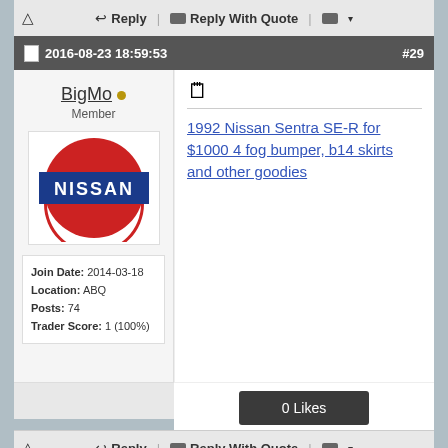⚠ Reply | Reply With Quote |
2016-08-23 18:59:53 #29
BigMo • Member
Join Date: 2014-03-18
Location: ABQ
Posts: 74
Trader Score: 1 (100%)
[Figure (logo): Nissan logo - red circle with blue rectangular banner reading NISSAN in white letters]
1992 Nissan Sentra SE-R for $1000 4 fog bumper, b14 skirts and other goodies
0 Likes
😊 Be the first to like this post.
⚠ Reply | Reply With Quote |
2016-08-23 19:03:51 #30
BigMo